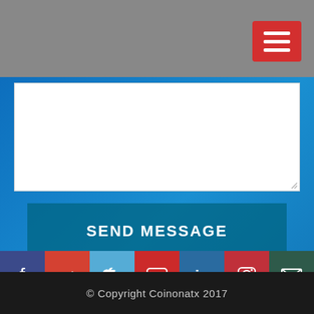[Figure (screenshot): Gray top navigation bar with red hamburger menu button in top right corner]
[Figure (screenshot): White textarea input field for message composition]
[Figure (screenshot): Blue circuit board technology background with white geometric line patterns and dots]
SEND MESSAGE
[Figure (infographic): Social media icon row: Facebook (purple/blue), Google+ (red), Twitter (light blue), YouTube (red), LinkedIn (blue), Instagram (red), Email (dark green)]
© Copyright Coinonatx 2017